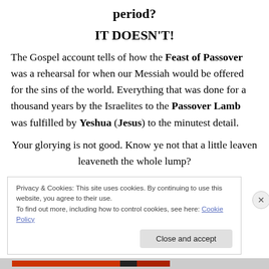period?
IT DOESN'T!
The Gospel account tells of how the Feast of Passover was a rehearsal for when our Messiah would be offered for the sins of the world. Everything that was done for a thousand years by the Israelites to the Passover Lamb was fulfilled by Yeshua (Jesus) to the minutest detail.
Your glorying is not good. Know ye not that a little leaven leaveneth the whole lump?
Privacy & Cookies: This site uses cookies. By continuing to use this website, you agree to their use.
To find out more, including how to control cookies, see here: Cookie Policy